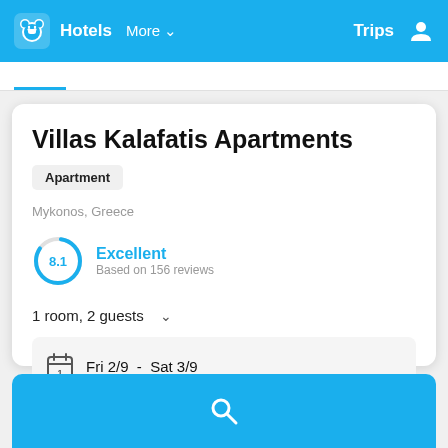Hotels  More  Trips
Villas Kalafatis Apartments
Apartment
Mykonos, Greece
8.1  Excellent  Based on 156 reviews
1 room, 2 guests
Fri 2/9  -  Sat 3/9